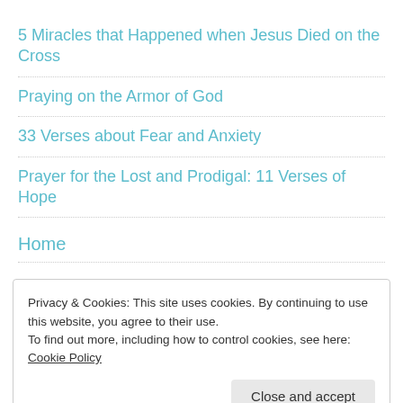5 Miracles that Happened when Jesus Died on the Cross
Praying on the Armor of God
33 Verses about Fear and Anxiety
Prayer for the Lost and Prodigal: 11 Verses of Hope
Home
Privacy & Cookies: This site uses cookies. By continuing to use this website, you agree to their use.
To find out more, including how to control cookies, see here:
Cookie Policy
Close and accept